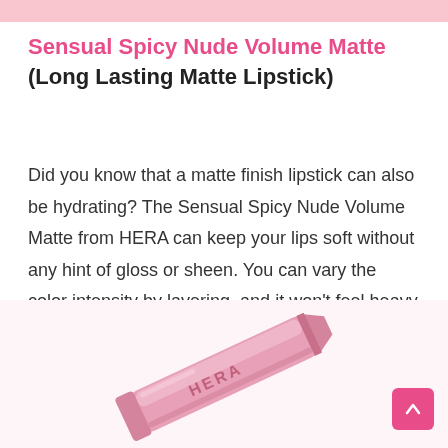Sensual Spicy Nude Volume Matte (Long Lasting Matte Lipstick)
Did you know that a matte finish lipstick can also be hydrating? The Sensual Spicy Nude Volume Matte from HERA can keep your lips soft without any hint of gloss or sheen. You can vary the color intensity by layering, and it won't feel heavy on the lips.
[Figure (photo): A pink HERA lipstick product (Sensual Spicy Nude Volume Matte) shown diagonally, with the brand name HERA visible on the tube.]